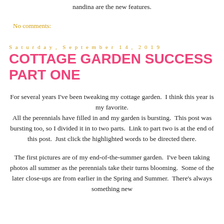nandina are the new features.
No comments:
Saturday, September 14, 2019
COTTAGE GARDEN SUCCESS PART ONE
For several years I've been tweaking my cottage garden.  I think this year is my favorite.
All the perennials have filled in and my garden is bursting.  This post was bursting too, so I divided it in to two parts.  Link to part two is at the end of this post.  Just click the highlighted words to be directed there.
The first pictures are of my end-of-the-summer garden.  I've been taking photos all summer as the perennials take their turns blooming.  Some of the later close-ups are from earlier in the Spring and Summer.  There's always something new